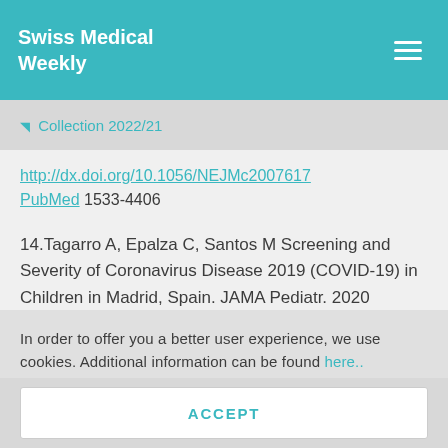Swiss Medical Weekly
⬡ Collection 2022/21
http://dx.doi.org/10.1056/NEJMc2007617 PubMed 1533-4406
14. Tagarro A, Epalza C, Santos M Screening and Severity of Coronavirus Disease 2019 (COVID-19) in Children in Madrid, Spain. JAMA Pediatr. 2020
In order to offer you a better user experience, we use cookies. Additional information can be found here..
ACCEPT